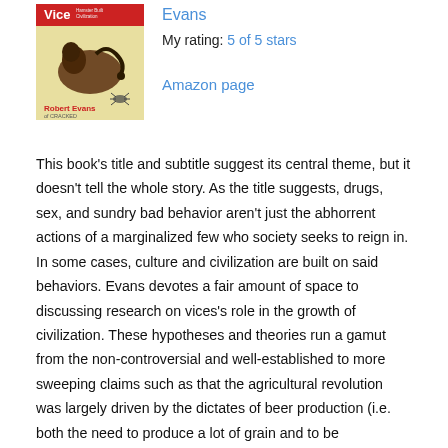[Figure (illustration): Book cover illustration showing a figure, with text 'Vice' and 'Robert Evans of Cracked']
Evans
My rating: 5 of 5 stars

Amazon page
This book's title and subtitle suggest its central theme, but it doesn't tell the whole story. As the title suggests, drugs, sex, and sundry bad behavior aren't just the abhorrent actions of a marginalized few who society seeks to reign in. In some cases, culture and civilization are built on said behaviors. Evans devotes a fair amount of space to discussing research on vices's role in the growth of civilization. These hypotheses and theories run a gamut from the non-controversial and well-established to more sweeping claims such as that the agricultural revolution was largely driven by the dictates of beer production (i.e. both the need to produce a lot of grain and to be homebodies through the fermentation process) and that the dawn of religion may be linked to the ingestion of